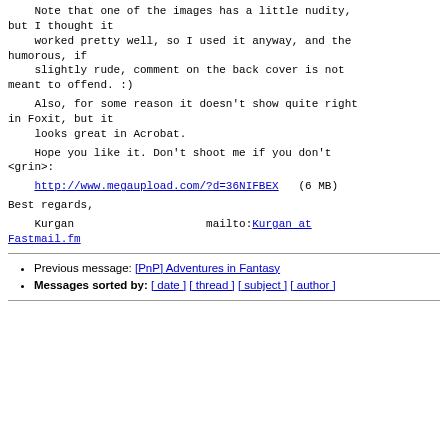Note that one of the images has a little nudity, but I thought it
    worked pretty well, so I used it anyway, and the humorous, if
    slightly rude, comment on the back cover is not meant to offend. :)
Also, for some reason it doesn't show quite right in Foxit, but it
    looks great in Acrobat.
Hope you like it. Don't shoot me if you don't <grin>:
http://www.megaupload.com/?d=36NIFBEX    (6 MB)
Best regards,
Kurgan                    mailto:Kurgan at Fastmail.fm
Previous message: [PnP] Adventures in Fantasy
Messages sorted by: [ date ] [ thread ] [ subject ] [ author ]